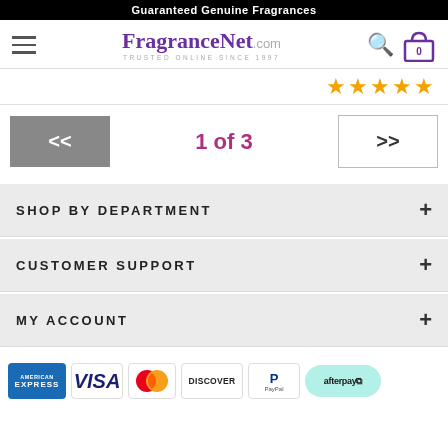Guaranteed Genuine Fragrances
[Figure (logo): FragranceNet.com logo with hamburger menu, search icon, and cart icon]
[Figure (other): Five gold star rating icons]
[Figure (other): Pagination control: << button, '1 of 3' label, >> button]
SHOP BY DEPARTMENT +
CUSTOMER SUPPORT +
MY ACCOUNT +
[Figure (other): Payment method logos: American Express, Visa, Mastercard, Discover, PayPal, Afterpay]